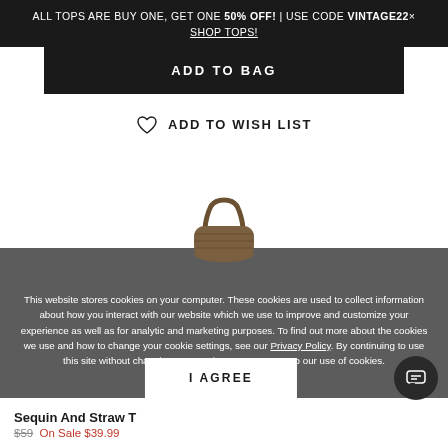ALL TOPS ARE BUY ONE, GET ONE 50% OFF! | USE CODE VINTAGE22x SHOP TOPS!
ADD TO BAG
ADD TO WISH LIST
[Figure (photo): A small woven straw bag with handles, partially visible at the top of the gray overlay section]
This website stores cookies on your computer. These cookies are used to collect information about how you interact with our website which we use to improve and customize your experience as well as for analytic and marketing purposes. To find out more about the cookies we use and how to change your cookie settings, see our Privacy Policy. By continuing to use this site without changing your settings, you consent to our use of cookies.
I AGREE
Sequin And Straw T
$59  On Sale $39.99